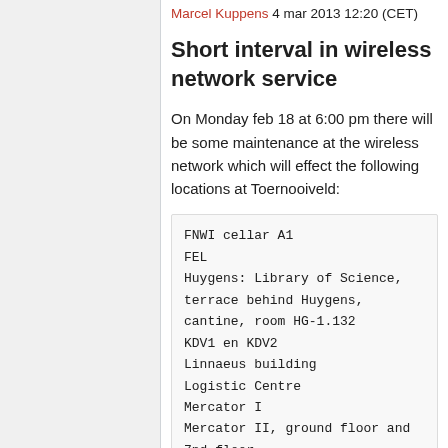Marcel Kuppens 4 mar 2013 12:20 (CET)
Short interval in wireless network service
On Monday feb 18 at 6:00 pm there will be some maintenance at the wireless network which will effect the following locations at Toernooiveld:
FNWI cellar A1
FEL
Huygens: Library of Science, terrace behind Huygens, cantine, room HG-1.132
KDV1 en KDV2
Linnaeus building
Logistic Centre
Mercator I
Mercator II, ground floor and 7nd floor